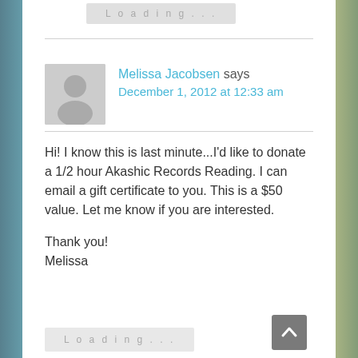Loading...
Melissa Jacobsen says
December 1, 2012 at 12:33 am
Hi! I know this is last minute...I'd like to donate a 1/2 hour Akashic Records Reading. I can email a gift certificate to you. This is a $50 value. Let me know if you are interested.

Thank you!
Melissa
Loading...